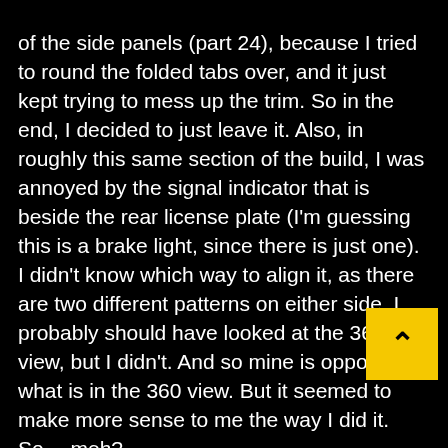of the side panels (part 24), because I tried to round the folded tabs over, and it just kept trying to mess up the trim. So in the end, I decided to just leave it. Also, in roughly this same section of the build, I was annoyed by the signal indicator that is beside the rear license plate (I'm guessing this is a brake light, since there is just one). I didn't know which way to align it, as there are two different patterns on either side. I probably should have looked at the 360 view, but I didn't. And so mine is opposite of what is in the 360 view. But it seemed to make more sense to me the way I did it. So… meh?
Unsurprisingly, the fenders / footboards (parts 28/31) on this model will take up a bit of your build time. I'm not sure I got them exactly right, but I gave it my best. And I think the best suggestion I can you is to do what the instructions suggest, refer to the trim part (29) as you are forming them, and do it